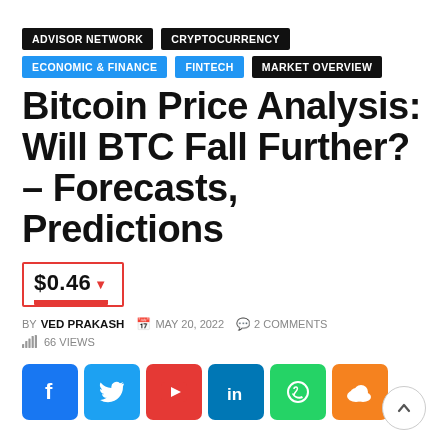ADVISOR NETWORK
CRYPTOCURRENCY
ECONOMIC & FINANCE
FINTECH
MARKET OVERVIEW
Bitcoin Price Analysis: Will BTC Fall Further? – Forecasts, Predictions
$0.46 ▼
BY VED PRAKASH   MAY 20, 2022   2 COMMENTS   66 VIEWS
[Figure (infographic): Social media share buttons: Facebook, Twitter, YouTube, LinkedIn, WhatsApp, Cloudflare, and a scroll-to-top button]